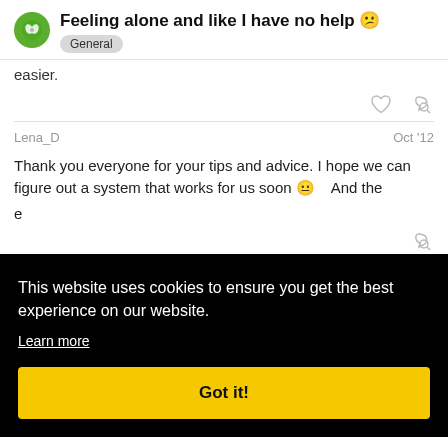Feeling alone and like I have no help 😕
General
easier.
Lena_D  Oct '12
Thank you everyone for your tips and advice. I hope we can figure out a system that works for us soon 😐  And the
This website uses cookies to ensure you get the best experience on our website.
Learn more
Got it!
Oct '12